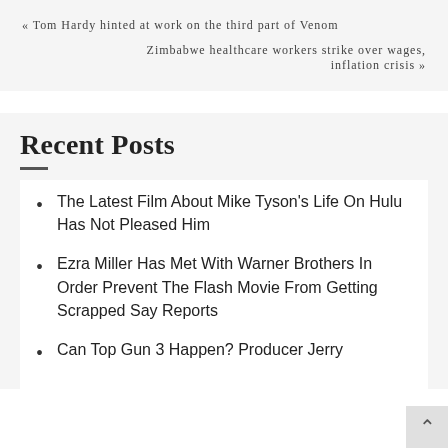« Tom Hardy hinted at work on the third part of Venom
Zimbabwe healthcare workers strike over wages, inflation crisis »
Recent Posts
The Latest Film About Mike Tyson's Life On Hulu Has Not Pleased Him
Ezra Miller Has Met With Warner Brothers In Order Prevent The Flash Movie From Getting Scrapped Say Reports
Can Top Gun 3 Happen? Producer Jerry